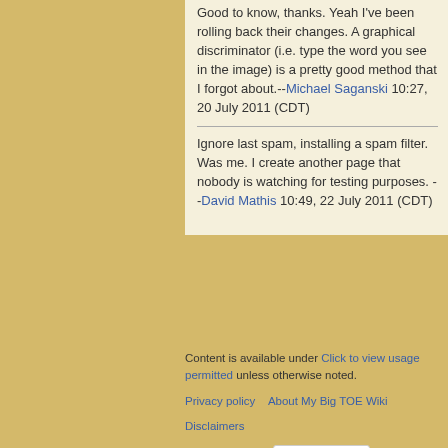Good to know, thanks. Yeah I've been rolling back their changes. A graphical discriminator (i.e. type the word you see in the image) is a pretty good method that I forgot about.--Michael Saganski 10:27, 20 July 2011 (CDT)
Ignore last spam, installing a spam filter. Was me. I create another page that nobody is watching for testing purposes. --David Mathis 10:49, 22 July 2011 (CDT)
Content is available under Click to view usage permitted unless otherwise noted. Privacy policy   About My Big TOE Wiki   Disclaimers